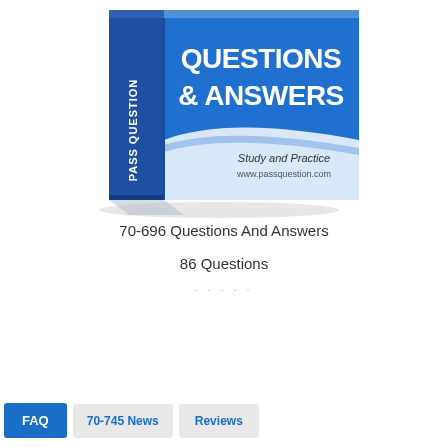[Figure (illustration): 3D book cover with blue front showing 'QUESTIONS & ANSWERS', spine reading 'PASS QUESTION', and bottom section with 'Study and Practice www.passquestion.com']
70-696 Questions And Answers
86 Questions
· · · · ·
FAQ
70-745 News
Reviews